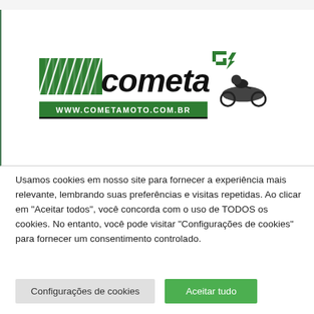[Figure (logo): Cometa Moto logo with green diagonal stripes, bold black italic 'cometa' text with a green MotoGP-style logo mark, and a motorcycle racer graphic. URL: www.cometamoto.com.br shown in green banner below the text.]
Usamos cookies em nosso site para fornecer a experiência mais relevante, lembrando suas preferências e visitas repetidas. Ao clicar em "Aceitar todos", você concorda com o uso de TODOS os cookies. No entanto, você pode visitar "Configurações de cookies" para fornecer um consentimento controlado.
Configurações de cookies
Aceitar tudo